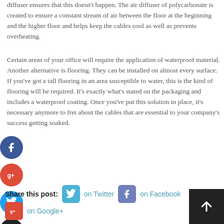diffuser ensures that this doesn't happen. The air diffuser of polycarbonate is created to ensure a constant stream of air between the floor at the beginning and the higher floor and helps keep the cables cool as well as prevents overheating.
Certain areas of your office will require the application of waterproof material. Another alternative is flooring. They can be installed on almost every surface. If you've got a tall flooring in an area susceptible to water, this is the kind of flooring will be required. It's exactly what's stated on the packaging and includes a waterproof coating. Once you've put this solution in place, it's necessary anymore to fret about the cables that are essential to your company's success getting soaked.
[Figure (infographic): Social media share icons: Facebook (blue circle with f), Google+ (red circle with g+), Twitter (blue circle with bird), Plus/add (dark circle with +)]
Share this post:   on Twitter   on Facebook   on Google+